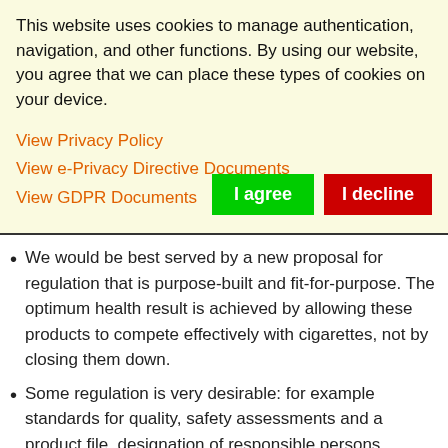This website uses cookies to manage authentication, navigation, and other functions. By using our website, you agree that we can place these types of cookies on your device.
View Privacy Policy
View e-Privacy Directive Documents
View GDPR Documents
We would be best served by a new proposal for regulation that is purpose-built and fit-for-purpose. The optimum health result is achieved by allowing these products to compete effectively with cigarettes, not by closing them down.
Some regulation is very desirable: for example standards for quality, safety assessments and a product file, designation of responsible persons, notification of ingredients and